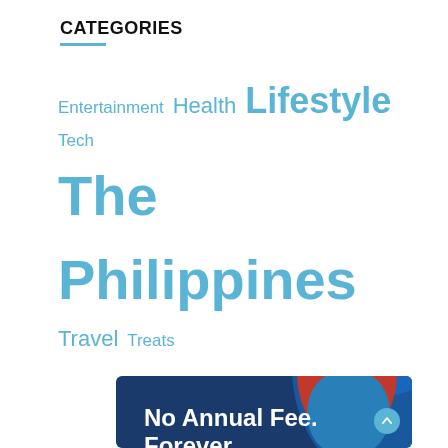CATEGORIES
Entertainment Health Lifestyle Tech The Philippines Travel Treats
[Figure (illustration): Citibank Rewards Mastercard advertisement banner with blue background, woman with headphones, and text: No Annual Fee. Forever. with the Citi Rewards Mastercard®. Break free from worry. For a limited time only. Apply Now button.]